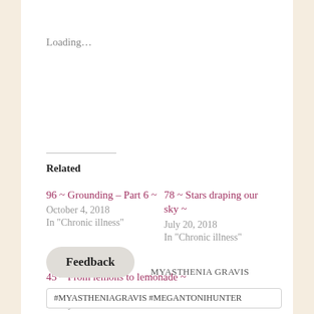Loading…
Related
96 ~ Grounding – Part 6 ~
October 4, 2018
In "Chronic illness"
78 ~ Stars draping our sky ~
July 20, 2018
In "Chronic illness"
45 ~ From lemons to lemonade ~
April 11, 2018
In "Dysautonomia"
Feedback
MYASTHENIA GRAVIS
#MYASTHENIAGRAVIS #MEGANTONIHUNTER